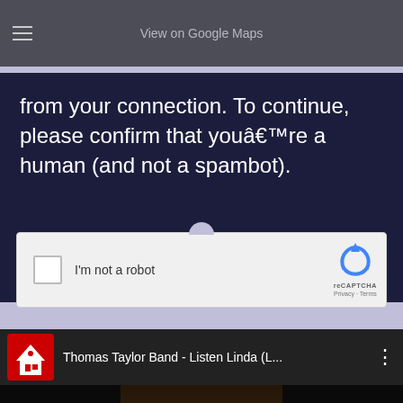View on Google Maps
from your connection. To continue, please confirm that youâ€™re a human (and not a spambot).
[Figure (screenshot): reCAPTCHA widget with checkbox labeled I'm not a robot and reCAPTCHA logo with Privacy and Terms links]
[Figure (screenshot): YouTube video embed showing Thomas Taylor Band - Listen Linda (L... with channel logo and three-dot menu, video content partially visible showing a person]